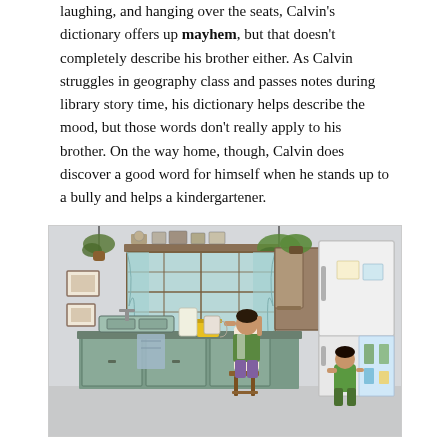laughing, and hanging over the seats, Calvin's dictionary offers up mayhem, but that doesn't completely describe his brother either. As Calvin struggles in geography class and passes notes during library story time, his dictionary helps describe the mood, but those words don't really apply to his brother. On the way home, though, Calvin does discover a good word for himself when he stands up to a bully and helps a kindergartener.
[Figure (illustration): Color illustration of a kitchen scene. A child in a green shirt and purple pants stands on a stool reaching into a high cabinet above the counter. Another child crouches in front of an open refrigerator on the right. The kitchen has teal cabinet doors, a window with light blue curtains, hanging plants, framed pictures on the wall, a sink, and various kitchen items on the counters.]